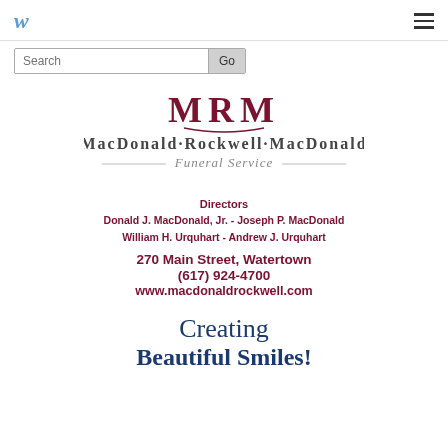W  ≡
Search  Go
[Figure (logo): MRM MacDonald·Rockwell·MacDonald Funeral Service logo with stylized MRM lettering and decorative lines]
Directors
Donald J. MacDonald, Jr. - Joseph P. MacDonald
William H. Urquhart - Andrew J. Urquhart
270 Main Street, Watertown
(617) 924-4700
www.macdonaldrockwell.com
Creating
Beautiful Smiles!